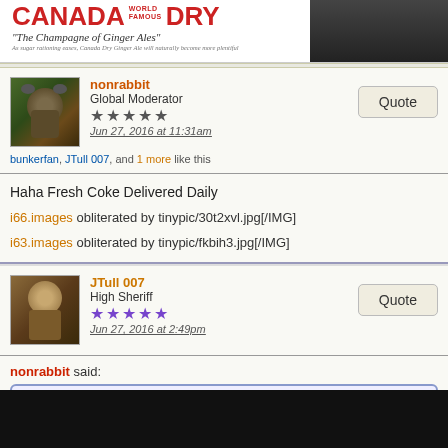[Figure (photo): Canada Dry Ginger Ale vintage advertisement banner. Red text reads 'CANADA DRY' with 'WORLD FAMOUS' and 'The Champagne of Ginger Ales' in italic. Small text below. Right side shows bottles on dark background.]
nonrabbit
Global Moderator
★★★★★
Jun 27, 2016 at 11:31am
bunkerfan, JTull 007, and 1 more like this
Quote
Haha Fresh Coke Delivered Daily
i66.images obliterated by tinypic/30t2xvl.jpg[/IMG]
i63.images obliterated by tinypic/fkbih3.jpg[/IMG]
JTull 007
High Sheriff
★★★★★
Jun 27, 2016 at 2:49pm
Quote
nonrabbit said: